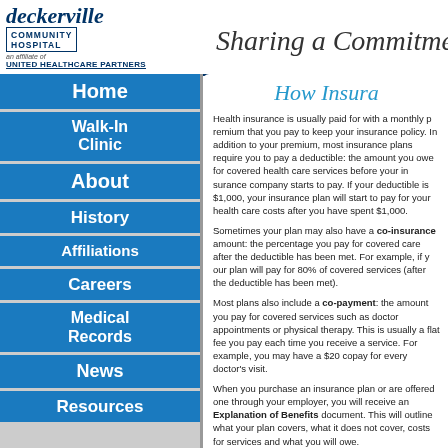[Figure (logo): Deckerville Community Hospital logo with United Healthcare Partners affiliation]
Sharing a Commitment
How Insurance
Home
Walk-In Clinic
About
History
Affiliations
Careers
Medical Records
News
Resources
Health insurance is usually paid for with a monthly premium that you pay to keep your insurance policy. In addition to your premium, most insurance plans require you to pay a deductible: the amount you owe for covered health care services before your insurance company starts to pay. For example, if your deductible is $1,000, your insurance plan will start to pay for your health care costs after you have spent $1,000.
Sometimes your plan may also have a co-insurance amount: the percentage you pay for covered care after the deductible has been met. For example, if your plan has an 80/20 co-insurance, your plan will pay for 80% of covered services (after the deductible has been met).
Most plans also include a co-payment: the amount you pay for covered services such as doctor appointments or physical therapy. This is usually a flat fee that you pay each time you receive a service. For example, you may have a $20 copay for every doctor's visit.
When you purchase an insurance plan or are offered one through your employer, you will receive an Explanation of Benefits document. This will outline what your plan covers, what it does not cover, costs for services and what you will owe.
There may also be exclusions in a health care policy. Because health insurance does not cover all medical expenses, it is important to know what your health insurance plan covers and what that it will not cover.
Preauthorization is a process by which a health insurance company may require you to seek advance approval for a medical procedure, or approval to see a specialist. Many non-critical treatments or tests require a pre...